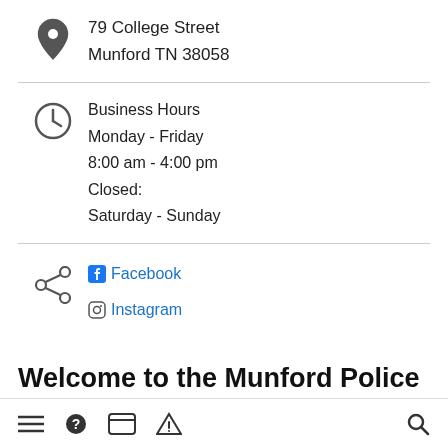79 College Street
Munford TN 38058
Business Hours
Monday - Friday
8:00 am - 4:00 pm
Closed:
Saturday - Sunday
Facebook
Instagram
Welcome to the Munford Police Department
The text content of the Munford Police Department website...